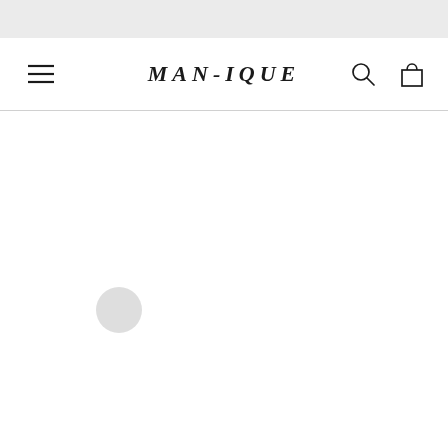[Figure (screenshot): MAN-IQUE e-commerce website header with top grey bar, navigation bar containing hamburger menu icon on left, MAN-IQUE logo in center, search and cart icons on right, followed by a horizontal divider and blank white content area with a light grey loading spinner circle]
MAN-IQUE
[Figure (other): Hamburger menu icon (three horizontal lines)]
[Figure (other): Search magnifying glass icon]
[Figure (other): Shopping bag/cart icon]
[Figure (other): Loading spinner grey circle]